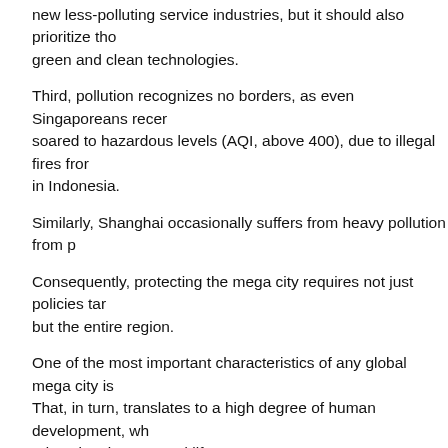new less-polluting service industries, but it should also prioritize those green and clean technologies.
Third, pollution recognizes no borders, as even Singaporeans recently soared to hazardous levels (AQI, above 400), due to illegal fires from in Indonesia.
Similarly, Shanghai occasionally suffers from heavy pollution from p
Consequently, protecting the mega city requires not just policies tar but the entire region.
One of the most important characteristics of any global mega city is That, in turn, translates to a high degree of human development, wh education, income and life expectancy.
While educational aspirations and rising incomes are necessary for not sufficient.
High quality of life cannot be based on shortened life spans.